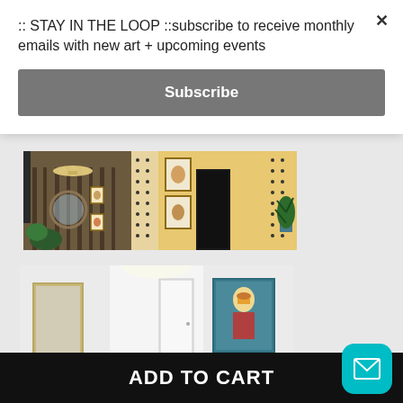:: STAY IN THE LOOP ::subscribe to receive monthly emails with new art + upcoming events
Subscribe
[Figure (photo): Interior room photo showing an eclectic hallway with patterned wallpaper, framed artwork including animal portraits, a chandelier, mirror, and houseplants.]
[Figure (photo): Interior room photo showing a modern white hallway/room with a framed colorful artwork on the right wall, a mirror frame on the left, and recessed lighting.]
ADD TO CART